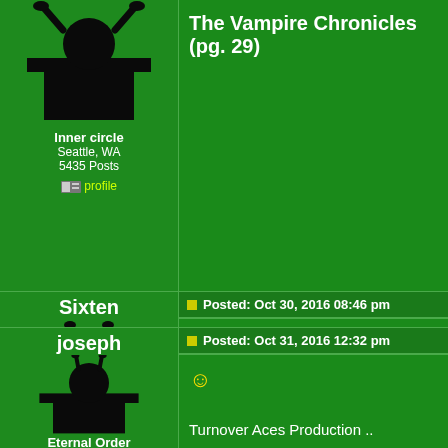The Vampire Chronicles (pg. 29)
Inner circle
Seattle, WA
5435 Posts
profile
Sixten
Posted: Oct 30, 2016 08:46 pm
Slingshot Snapout

Mr. Meir Yedid
(Pg. #26/Mr. Richard Kaufman's book: Cardworks)
Inner circle
Floral Park, NY, U.S.A.
4695 Posts
profile
joseph
Posted: Oct 31, 2016 12:32 pm
Turnover Aces Production ..

(Dominique Duvivier; Duvivier's Magic Volume 4: From
Eternal Order